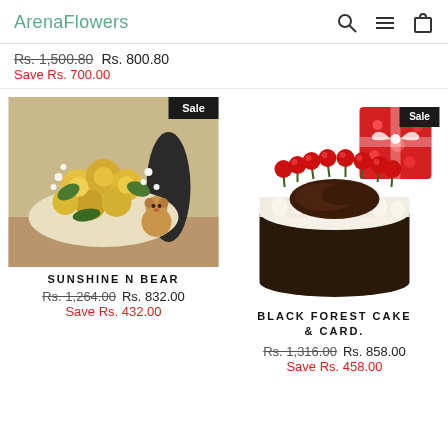ArenaFlowers
Rs. 1,500.80  Rs. 800.80
Save Rs. 700.00
[Figure (photo): Yellow roses bouquet with baby's breath and a small teddy bear, with 'Sale' badge]
SUNSHINE N BEAR
Rs. 1,264.00  Rs. 832.00
Save Rs. 432.00
[Figure (photo): Black forest cake topped with cherries and chocolate shavings, with a red gift box and 'Sale' badge]
BLACK FOREST CAKE & CARD.
Rs. 1,316.00  Rs. 858.00
Save Rs. 458.00